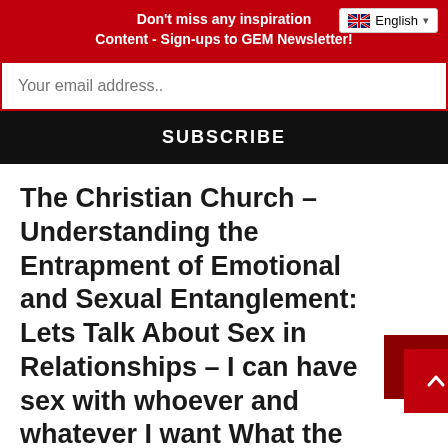Don't miss any inspiration Content - Sign-ups to GEM Newsletter!
Your email address..
SUBSCRIBE
The Christian Church – Understanding the Entrapment of Emotional and Sexual Entanglement: Lets Talk About Sex in Relationships – I can have sex with whoever and whatever I want What the hell is WRONG with that? Part 1 of 15
[Figure (screenshot): Dark banner image with red text reading LETS TALK ABOUT SEX]
This site k the invisib